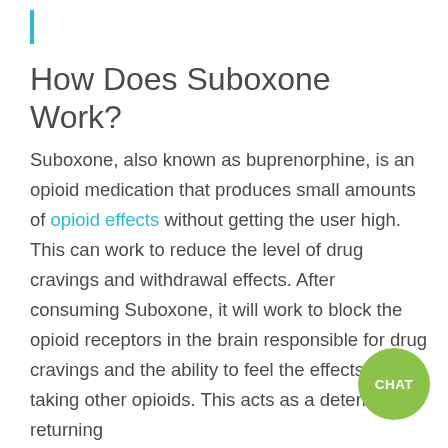How Does Suboxone Work?
Suboxone, also known as buprenorphine, is an opioid medication that produces small amounts of opioid effects without getting the user high. This can work to reduce the level of drug cravings and withdrawal effects. After consuming Suboxone, it will work to block the opioid receptors in the brain responsible for drug cravings and the ability to feel the effects of taking other opioids. This acts as a deterrent in returning